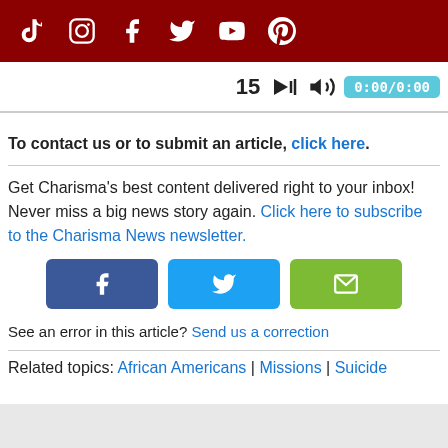Social media icons: TikTok, Instagram, Facebook, Twitter, YouTube, Pinterest
[Figure (screenshot): Media player bar showing '15' counter, audio/speaker icon, and time display '0:00/0:00']
To contact us or to submit an article, click here.
Get Charisma's best content delivered right to your inbox! Never miss a big news story again. Click here to subscribe to the Charisma News newsletter.
[Figure (infographic): Three share buttons: Facebook (dark blue), Twitter (light blue), Email/envelope (green)]
See an error in this article? Send us a correction
Related topics: African Americans | Missions | Suicide